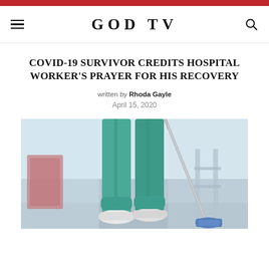GOD TV
COVID-19 SURVIVOR CREDITS HOSPITAL WORKER'S PRAYER FOR HIS RECOVERY
written by Rhoda Gayle
April 15, 2020
[Figure (photo): Hospital cleaning worker in teal scrubs mopping a hospital floor, with a red bucket visible in the background]